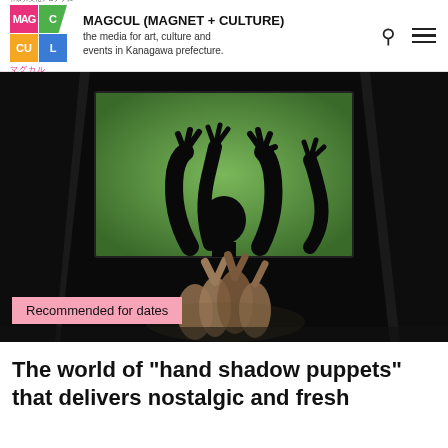MAGCUL (MAGNET + CULTURE) the media for art, culture and events in Kanagawa prefecture.
[Figure (photo): Dark theater stage scene with silhouettes of hands raised against a bright green projected screen, and performers grouped together below, creating shadow puppet effects. Black curtains frame the sides.]
Recommended for dates
The world of "hand shadow puppets" that delivers nostalgic and fresh